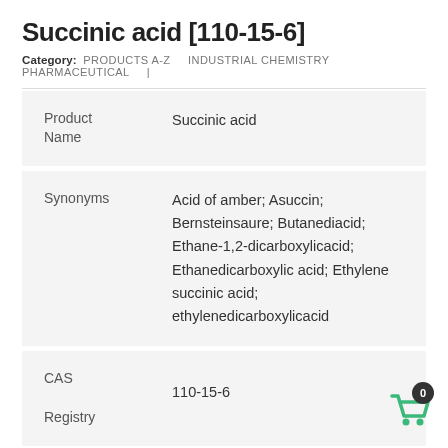Succinic acid [110-15-6]
Category: PRODUCTS A-Z   INDUSTRIAL CHEMISTRY   PHARMACEUTICAL   |
| Field | Value |
| --- | --- |
| Product Name | Succinic acid |
| Synonyms | Acid of amber; Asuccin; Bernsteinsaure; Butanediacid; Ethane-1,2-dicarboxylicacid; Ethanedicarboxylic acid; Ethylene succinic acid; ethylenedicarboxylicacid |
| CAS Registry Number | 110-15-6 |